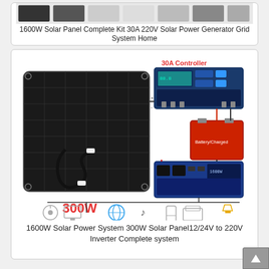[Figure (photo): Partial product image strip showing components of a solar panel kit at the top of the first card]
1600W Solar Panel Complete Kit 30A 220V Solar Power Generator Grid System Home
[Figure (schematic): Solar power system diagram showing a 300W flexible solar panel connected to a 30A controller, battery, and 1600W inverter, with output loads including fan, monitor, speakers, phone, and printer]
1600W Solar Power System 300W Solar Panel12/24V to 220V Inverter Complete system